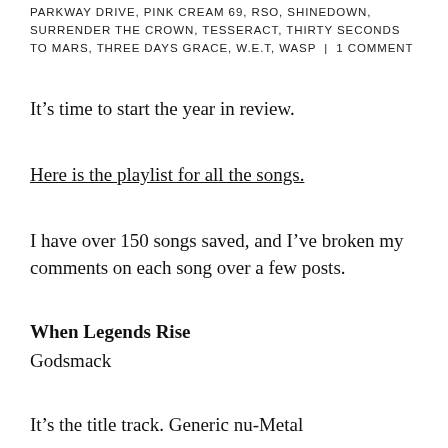PARKWAY DRIVE, PINK CREAM 69, RSO, SHINEDOWN, SURRENDER THE CROWN, TESSERACT, THIRTY SECONDS TO MARS, THREE DAYS GRACE, W.E.T, WASP | 1 COMMENT
It’s time to start the year in review.
Here is the playlist for all the songs.
I have over 150 songs saved, and I’ve broken my comments on each song over a few posts.
When Legends Rise
Godsmack
It’s the title track. Generic nu-Metal